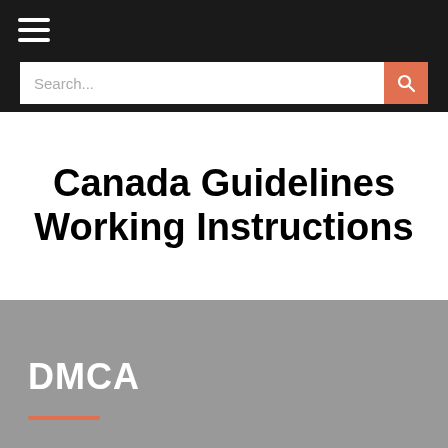☰ Search...
Canada Guidelines Working Instructions
DMCA